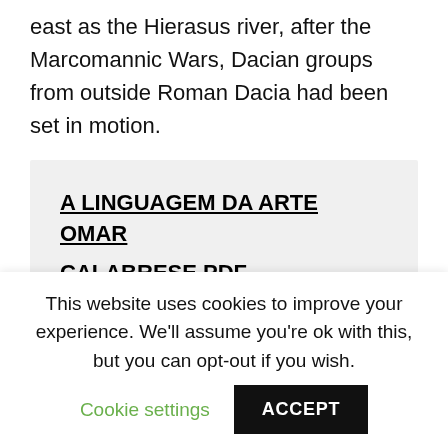east as the Hierasus river, after the Marcomannic Wars, Dacian groups from outside Roman Dacia had been set in motion.
A LINGUAGEM DA ARTE OMAR CALABRESE PDF
Alexandru Busuioceanu
This website uses cookies to improve your experience. We'll assume you're ok with this, but you can opt-out if you wish. Cookie settings ACCEPT